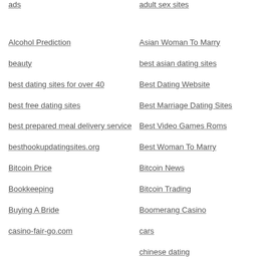ads
adult sex sites
Alcohol Prediction
Asian Woman To Marry
beauty
best asian dating sites
best dating sites for over 40
Best Dating Website
best free dating sites
Best Marriage Dating Sites
best prepared meal delivery service
Best Video Games Roms
Best Woman To Marry
besthookupdatingsites.org
Bitcoin News
Bitcoin Price
Bitcoin Trading
Bookkeeping
Boomerang Casino
Buying A Bride
cars
casino-fair-go.com
chinese dating